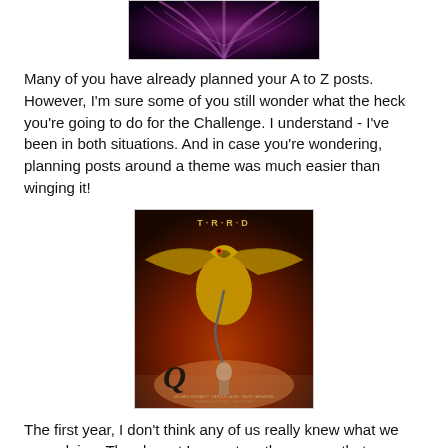[Figure (photo): Top portion of an image showing a dark purple/pink tentacled or branching creature on a dark background — partially cropped at top of page]
Many of you have already planned your A to Z posts. However, I'm sure some of you still wonder what the heck you're going to do for the Challenge. I understand - I've been in both situations. And in case you're wondering, planning posts around a theme was much easier than winging it!
[Figure (photo): Movie poster for 'Q' (1982/1983) — a dark fantasy/horror film showing a large winged dragon-like creature with a beak/mask head over a human figure, on a red-orange fiery background. The letter Q is stylized in the lower left. Text at bottom lists cast and crew.]
The first year, I don't think any of us really knew what we were doing. The closest I came to a theme was that my posts were all entertainment related. Movies, music, games - you name it. For Q, I blogged about Q*Bert and "Q." Yes, the crappy 1983 movie "Q!" I was desperate…